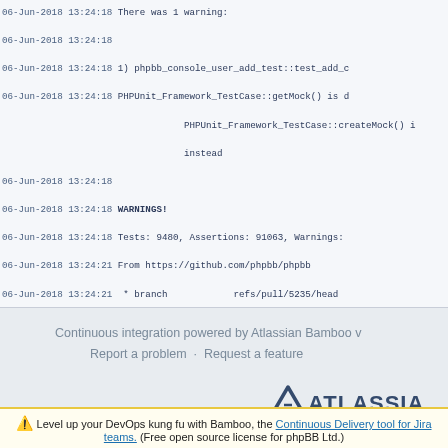06-Jun-2018 13:24:18 There was 1 warning:
06-Jun-2018 13:24:18
06-Jun-2018 13:24:18 1) phpbb_console_user_add_test::test_add_c
06-Jun-2018 13:24:18 PHPUnit_Framework_TestCase::getMock() is d PHPUnit_Framework_TestCase::createMock() i instead
06-Jun-2018 13:24:18
06-Jun-2018 13:24:18 WARNINGS!
06-Jun-2018 13:24:18 Tests: 9480, Assertions: 91063, Warnings:
06-Jun-2018 13:24:21 From https://github.com/phpbb/phpbb
06-Jun-2018 13:24:21  * branch            refs/pull/5235/head
06-Jun-2018 13:24:21   % Total    % Received % Xferd  Average S
06-Jun-2018 13:24:21                                   Dload  U
06-Jun-2018 13:24:21
06-Jun-2018 13:24:21     0       0      0      0      0      0      0
06-Jun-2018 13:24:21   100     273    100     93    100    180    179
Continuous integration powered by Atlassian Bamboo v
Report a problem · Request a feature
[Figure (logo): Atlassian logo with triangle and text ATLASSIA]
Level up your DevOps kung fu with Bamboo, the Continuous Delivery tool for Jira teams. (Free open source license for phpBB Ltd.)